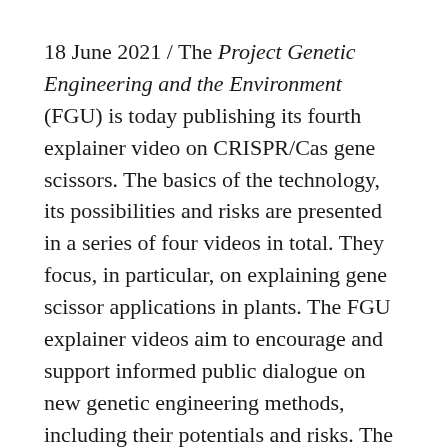18 June 2021 / The Project Genetic Engineering and the Environment (FGU) is today publishing its fourth explainer video on CRISPR/Cas gene scissors. The basics of the technology, its possibilities and risks are presented in a series of four videos in total. They focus, in particular, on explaining gene scissor applications in plants. The FGU explainer videos aim to encourage and support informed public dialogue on new genetic engineering methods, including their potentials and risks. The FGU will also be publishing background papers on the individual topics with further information and references to scientific articles on its website.
The video and background paper released today describe risks associated with gene scissor technology. CRISPR/Cas applications involve a multi-step process in which various unintended changes can occur that are specific to both old and new genetic engineering.